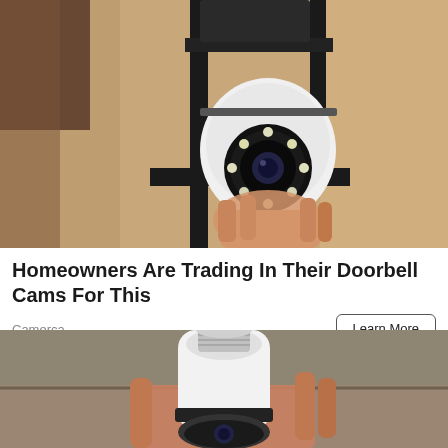[Figure (photo): Photo of a security camera shaped like a light bulb, mounted inside an outdoor wall lantern fixture. A hand is visible holding the white dome camera with LED ring, set against a textured stucco wall.]
Homeowners Are Trading In Their Doorbell Cams For This
Camerca
Learn More
[Figure (photo): Photo of a hand holding a white security camera that is shaped like a light bulb with a standard E27 screw base at the top, showing a rotating gimbal camera head at the bottom.]